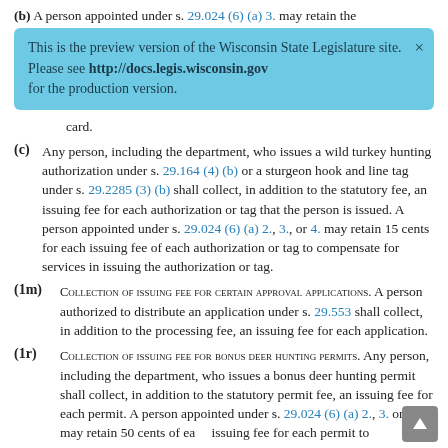(b) A person appointed under s. 29.024 (6) (a) 3. may retain the
[Figure (infographic): Light blue notification banner: 'This is the preview version of the Wisconsin State Legislature site. Please see http://docs.legis.wisconsin.gov for the production version.' with an X close button.]
card.
(c) Any person, including the department, who issues a wild turkey hunting authorization under s. 29.164 (4) (b) or a sturgeon hook and line tag under s. 29.2285 (3) (b) shall collect, in addition to the statutory fee, an issuing fee for each authorization or tag that the person is issued. A person appointed under s. 29.024 (6) (a) 2., 3., or 4. may retain 15 cents for each issuing fee of each authorization or tag to compensate for services in issuing the authorization or tag.
(1m) COLLECTION OF ISSUING FEE FOR CERTAIN APPROVAL APPLICATIONS. A person authorized to distribute an application under s. 29.553 shall collect, in addition to the processing fee, an issuing fee for each application.
(1r) COLLECTION OF ISSUING FEE FOR BONUS DEER HUNTING PERMITS. Any person, including the department, who issues a bonus deer hunting permit shall collect, in addition to the statutory permit fee, an issuing fee for each permit. A person appointed under s. 29.024 (6) (a) 2., 3. or 4. may retain 50 cents of each issuing fee for each permit to compensate for services in issuing the permit.